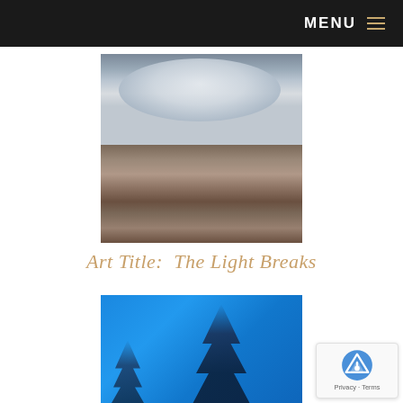MENU
[Figure (illustration): Oil painting of rocky coastal landscape with dramatic cloudy sky and ocean in background. Large boulders and layered rocks in foreground with muted blues, grays, and warm earth tones.]
Art Title:  The Light Breaks
[Figure (illustration): Oil painting with vivid blue background showing silhouetted dark pine trees against a bright cerulean blue sky or water.]